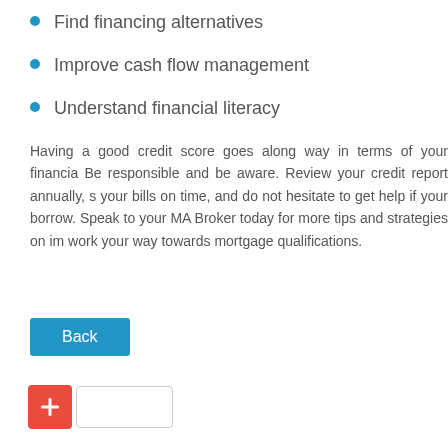Find financing alternatives
Improve cash flow management
Understand financial literacy
Having a good credit score goes along way in terms of your financial health. Be responsible and be aware. Review your credit report annually, s your bills on time, and do not hesitate to get help if your borrow. Speak to your MA Broker today for more tips and strategies on im work your way towards mortgage qualifications.